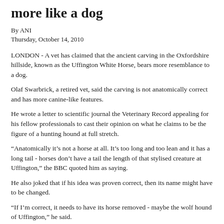more like a dog
By ANI
Thursday, October 14, 2010
LONDON - A vet has claimed that the ancient carving in the Oxfordshire hillside, known as the Uffington White Horse, bears more resemblance to a dog.
Olaf Swarbrick, a retired vet, said the carving is not anatomically correct and has more canine-like features.
He wrote a letter to scientific journal the Veterinary Record appealing for his fellow professionals to cast their opinion on what he claims to be the figure of a hunting hound at full stretch.
“Anatomically it’s not a horse at all. It’s too long and too lean and it has a long tail - horses don’t have a tail the length of that stylised creature at Uffington,” the BBC quoted him as saying.
He also joked that if his idea was proven correct, then its name might have to be changed.
“If I’m correct, it needs to have its horse removed - maybe the wolf hound of Uffington,” he said.